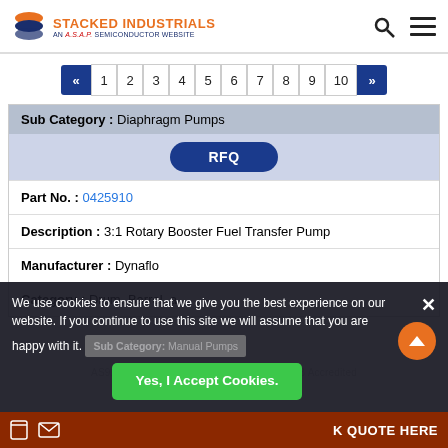STACKED INDUSTRIALS AN A.S.A.P. SEMICONDUCTOR WEBSITE
« 1 2 3 4 5 6 7 8 9 10 »
| Field | Value |
| --- | --- |
| Sub Category : | Diaphragm Pumps |
| RFQ |  |
| Part No. : | 0425910 |
| Description : | 3:1 Rotary Booster Fuel Transfer Pump |
| Manufacturer : | Dynaflo |
| Category : | Drum, Barrel, a... |
We use cookies to ensure that we give you the best experience on our website. If you continue to use this site we will assume that you are happy with it.
Yes, I Accept Cookies.
AS9120B, ISO 9001:2015, and FAA AC 0056B Accredited
K QUOTE HERE